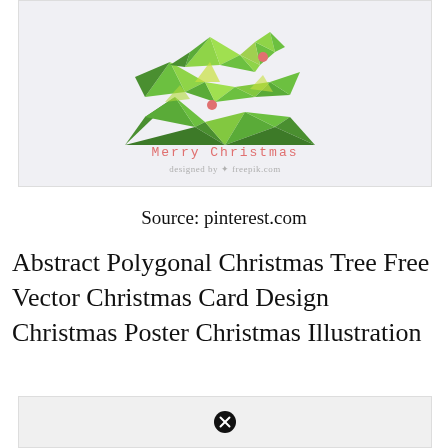[Figure (illustration): Abstract polygonal low-poly Christmas tree made of green and yellow-green geometric triangular facets on a light gray background, with two small red/coral circular ornament dots. Below the tree: 'Merry Christmas' in coral monospace text, and 'designed by freepik.com' in small gray text.]
Source: pinterest.com
Abstract Polygonal Christmas Tree Free Vector Christmas Card Design Christmas Poster Christmas Illustration
[Figure (other): Light gray rectangle with a black circled X (close/cancel) icon in the center.]